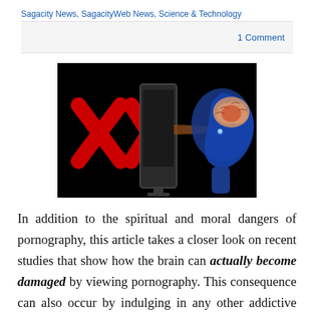Sagacity News, SagacityWeb News, Science & Technology
1 Comment
[Figure (illustration): Illustration showing a computer monitor displaying 'XXX' with a beam of light directed at a transparent blue human head profile, showing the brain being affected. Black background.]
In addition to the spiritual and moral dangers of pornography, this article takes a closer look on recent studies that show how the brain can actually become damaged by viewing pornography. This consequence can also occur by indulging in any other addictive behavior